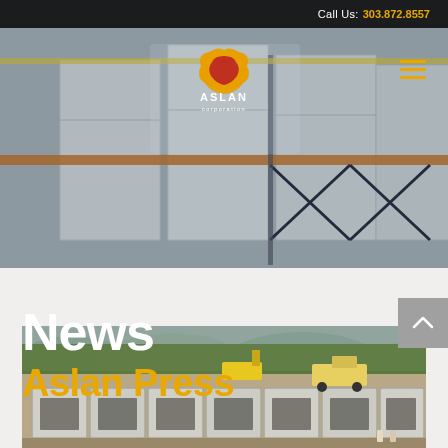Call Us: 303.872.8557
[Figure (photo): Hero background: construction site with large white precast concrete panels/forms being assembled, scaffolding with orange bar visible]
[Figure (logo): Aslan Corporation logo: stylized gold lion head with red mane, white text 'ASLAN' in bold, 'corporation' in smaller text below]
News
Aslan Press
[Figure (photo): Aerial/ground-level construction photo showing precast concrete hexagonal or geometric stormwater detention vault sections being installed at a construction site, with excavation equipment and trucks visible in background, surrounded by trees and hills]